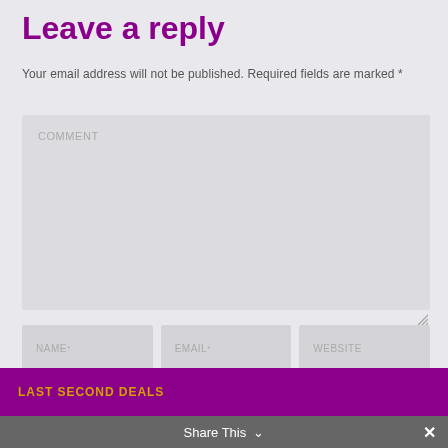Leave a reply
Your email address will not be published. Required fields are marked *
[Figure (screenshot): Comment textarea input field with placeholder text COMMENT and a resize handle in the bottom right corner]
[Figure (screenshot): Three input fields in a row labeled NAME *, EMAIL *, and WEBSITE]
[Figure (screenshot): POST COMMENT button with purple border and a grey scroll-to-top button with upward arrow]
[Figure (screenshot): LAST SECOND DEALS purple banner at the bottom]
[Figure (screenshot): Share This toolbar at the very bottom with an X close button]